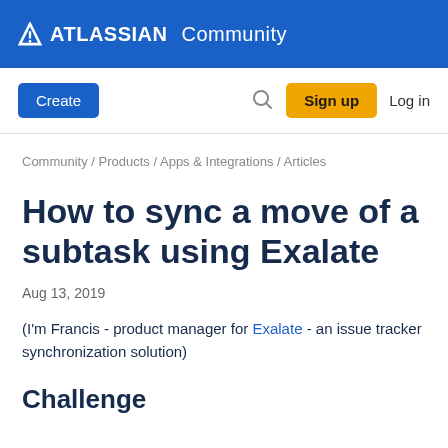ATLASSIAN Community
Create | Search | Sign up | Log in
Community / Products / Apps & Integrations / Articles
How to sync a move of a subtask using Exalate
Aug 13, 2019
(I'm Francis - product manager for Exalate - an issue tracker synchronization solution)
Challenge